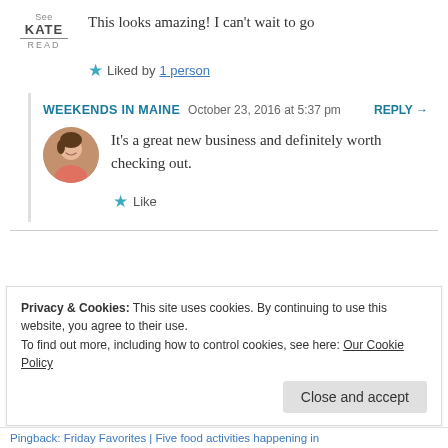This looks amazing! I can't wait to go
Liked by 1 person
WEEKENDS IN MAINE  October 23, 2016 at 5:37 pm  REPLY →
It's a great new business and definitely worth checking out.
Like
Privacy & Cookies: This site uses cookies. By continuing to use this website, you agree to their use. To find out more, including how to control cookies, see here: Our Cookie Policy
Close and accept
Pingback: Friday Favorites | Five food activities happening in